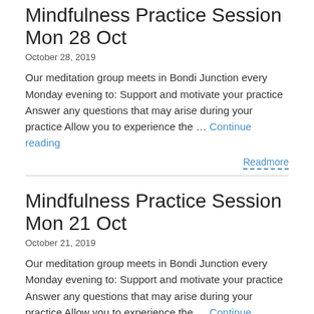Mindfulness Practice Session Mon 28 Oct
October 28, 2019
Our meditation group meets in Bondi Junction every Monday evening to: Support and motivate your practice Answer any questions that may arise during your practice Allow you to experience the … Continue reading
Readmore
Mindfulness Practice Session Mon 21 Oct
October 21, 2019
Our meditation group meets in Bondi Junction every Monday evening to: Support and motivate your practice Answer any questions that may arise during your practice Allow you to experience the … Continue